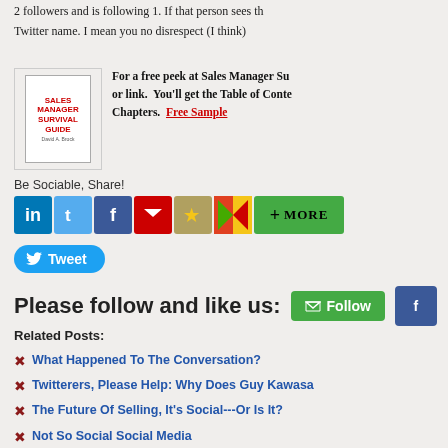2 followers and is following 1.  If that person sees this Twitter name.  I mean you no disrespect (I think)
[Figure (illustration): Sales Manager Survival Guide book cover]
For a free peek at Sales Manager Su or link.  You'll get the Table of Conte Chapters.  Free Sample
Be Sociable, Share!
[Figure (infographic): Social sharing icons: LinkedIn, Twitter, Facebook, Email, Bookmark, AddThis, More button]
[Figure (infographic): Tweet button]
Please follow and like us:
[Figure (infographic): Follow button and Facebook follow button]
Related Posts:
What Happened To The Conversation?
Twitterers, Please Help: Why Does Guy Kawasa
The Future Of Selling, It's Social---Or Is It?
Not So Social Social Media
Is Social Media Really Anti-Social?